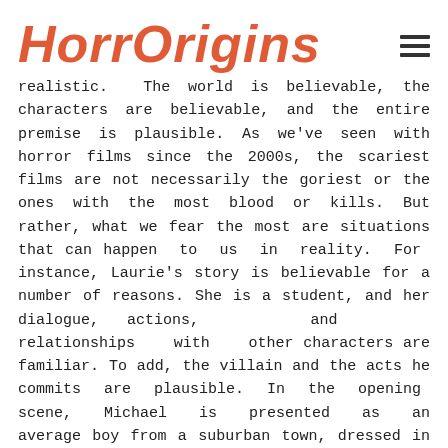HorrOrigins
realistic. The world is believable, the characters are believable, and the entire premise is plausible. As we've seen with horror films since the 2000s, the scariest films are not necessarily the goriest or the ones with the most blood or kills. But rather, what we fear the most are situations that can happen to us in reality. For instance, Laurie's story is believable for a number of reasons. She is a student, and her dialogue, actions, and relationships with other characters are familiar. To add, the villain and the acts he commits are plausible. In the opening scene, Michael is presented as an average boy from a suburban town, dressed in a